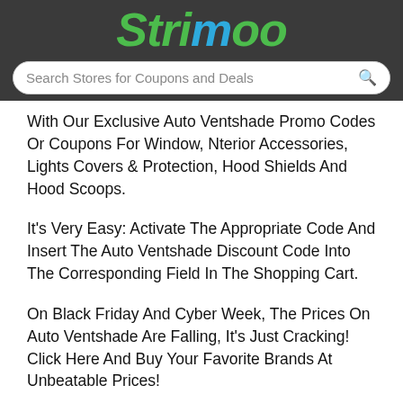Strimoo
Search Stores for Coupons and Deals
With Our Exclusive Auto Ventshade Promo Codes Or Coupons For Window, Nterior Accessories, Lights Covers & Protection, Hood Shields And Hood Scoops.
It's Very Easy: Activate The Appropriate Code And Insert The Auto Ventshade Discount Code Into The Corresponding Field In The Shopping Cart.
On Black Friday And Cyber Week, The Prices On Auto Ventshade Are Falling, It's Just Cracking! Click Here And Buy Your Favorite Brands At Unbeatable Prices!
You Can Find The Latest And Greatest Coupons And Discount Deals Quickly And Easily By Visiting The Auto Ventshade Website. We Have Already Listed The Best Offers And Discounts